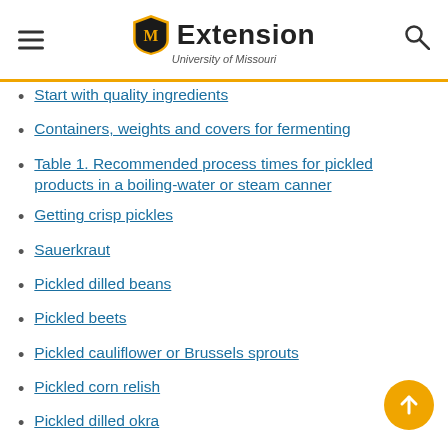MU Extension — University of Missouri
Start with quality ingredients
Containers, weights and covers for fermenting
Table 1. Recommended process times for pickled products in a boiling-water or steam canner
Getting crisp pickles
Sauerkraut
Pickled dilled beans
Pickled beets
Pickled cauliflower or Brussels sprouts
Pickled corn relish
Pickled dilled okra
Pickled bell peppers
Pickled hot peppers (Hungarian, banana, chile, jalapeño)
Reduced-sodium, sliced dill pickles